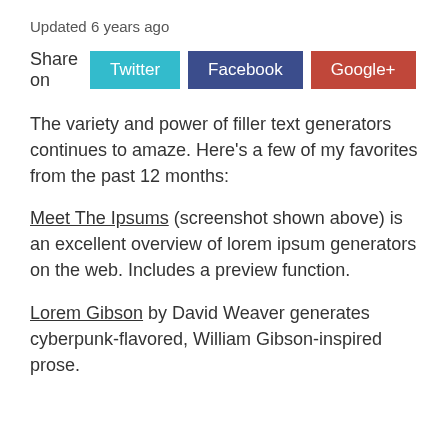Updated 6 years ago
Share on  Twitter  Facebook  Google+
The variety and power of filler text generators continues to amaze. Here’s a few of my favorites from the past 12 months:
Meet The Ipsums (screenshot shown above) is an excellent overview of lorem ipsum generators on the web. Includes a preview function.
Lorem Gibson by David Weaver generates cyberpunk-flavored, William Gibson-inspired prose.